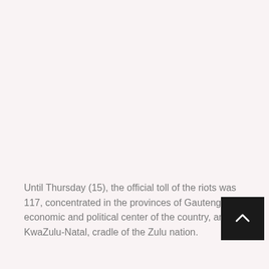Until Thursday (15), the official toll of the riots was 117, concentrated in the provinces of Gauteng, economic and political center of the country, and KwaZulu-Natal, cradle of the Zulu nation.